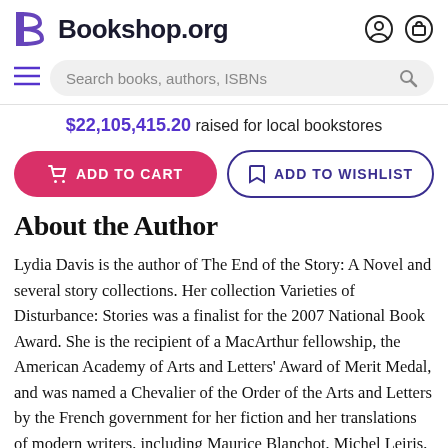[Figure (logo): Bookshop.org logo with stylized B icon and site name]
[Figure (screenshot): Search bar with hamburger menu on left and search icon on right, placeholder text: Search books, authors, ISBNs]
$22,105,415.20 raised for local bookstores
[Figure (screenshot): Two buttons: ADD TO CART (pink/red rounded) and ADD TO WISHLIST (outline purple rounded)]
About the Author
Lydia Davis is the author of The End of the Story: A Novel and several story collections. Her collection Varieties of Disturbance: Stories was a finalist for the 2007 National Book Award. She is the recipient of a MacArthur fellowship, the American Academy of Arts and Letters' Award of Merit Medal, and was named a Chevalier of the Order of the Arts and Letters by the French government for her fiction and her translations of modern writers, including Maurice Blanchot, Michel Leiris, and Marcel